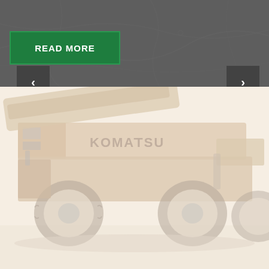[Figure (screenshot): Top dark grey section with a faint map overlay background. Contains a green 'READ MORE' button and navigation arrows (prev/next) for a slider.]
READ MORE
[Figure (photo): A Komatsu heavy construction vehicle/telehandler photographed in a desert/sandy environment. The machine is tan/beige in color with large off-road tires. The image is faded/washed out.]